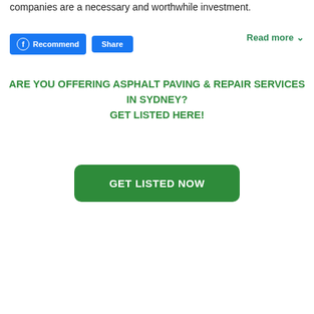companies are a necessary and worthwhile investment.
[Figure (screenshot): Facebook Recommend and Share buttons, and a Read more link]
ARE YOU OFFERING ASPHALT PAVING & REPAIR SERVICES IN SYDNEY?
GET LISTED HERE!
GET LISTED NOW